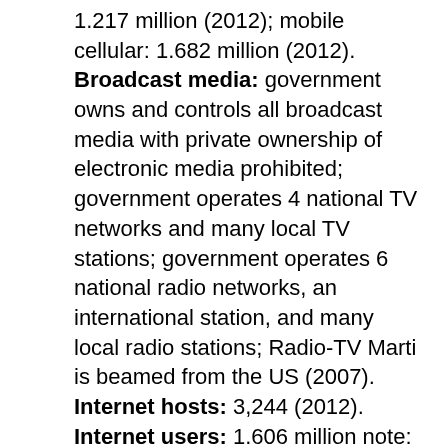1.217 million (2012); mobile cellular: 1.682 million (2012). Broadcast media: government owns and controls all broadcast media with private ownership of electronic media prohibited; government operates 4 national TV networks and many local TV stations; government operates 6 national radio networks, an international station, and many local radio stations; Radio-TV Marti is beamed from the US (2007). Internet hosts: 3,244 (2012). Internet users: 1.606 million note: private citizens are prohibited from buying computers or accessing the Internet without special authorization; foreigners may access the Internet in large hotels but are subject to firewalls; some Cubans buy illegal passwords on the black market or take advantage of public outlets to access limited email and the government-controlled "intranet" (2005).
Transportation: Railways: total: 8,203 km (2011). Roadways: total: 60,858 km; paved: 29,820 km